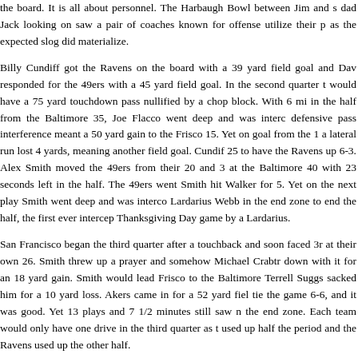the board. It is all about personnel. The Harbaugh Bowl between Jim and dad Jack looking on saw a pair of coaches known for offense utilize their p as the expected slog did materialize.
Billy Cundiff got the Ravens on the board with a 39 yard field goal and Dav responded for the 49ers with a 45 yard field goal. In the second quarter t would have a 75 yard touchdown pass nullified by a chop block. With 6 mi in the half from the Baltimore 35, Joe Flacco went deep and was interce defensive pass interference meant a 50 yard gain to the Frisco 15. Yet on goal from the 1 a lateral run lost 4 yards, meaning another field goal. Cundif 25 to have the Ravens up 6-3. Alex Smith moved the 49ers from their 20 and 3 at the Baltimore 40 with 23 seconds left in the half. The 49ers went Smith hit Walker for 5. Yet on the next play Smith went deep and was interco Lardarius Webb in the end zone to end the half, the first ever intercep Thanksgiving Day game by a Lardarius.
San Francisco began the third quarter after a touchback and soon faced 3r at their own 26. Smith threw up a prayer and somehow Michael Crabtr down with it for an 18 yard gain. Smith would lead Frisco to the Baltimore Terrell Suggs sacked him for a 10 yard loss. Akers came in for a 52 yard fiel tie the game 6-6, and it was good. Yet 13 plays and 7 1/2 minutes still saw n the end zone. Each team would only have one drive in the third quarter as t used up half the period and the Ravens used up the other half.
Baltimore took over at their own 24.. On 3rd and 6 Flacco hit Anquon Bol On 3rd and 7 from the Ravens 38, Flacco hit Evans for 8. On 3rd and 6 from Flacco hit Pitta for 11, Rice for 6, Leach for 10, and Dickson for 15. The thin ended with the Ravens facing 3rd and goal at the 8. On the first play of t